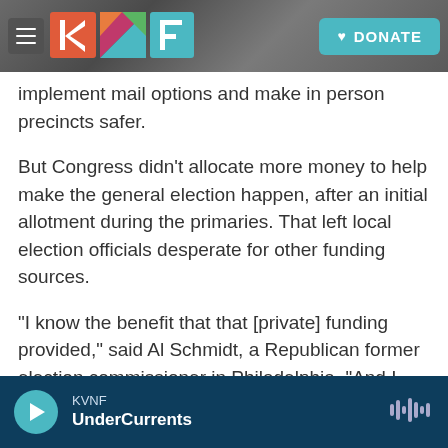KVNF — DONATE
implement mail options and make in person precincts safer.
But Congress didn't allocate more money to help make the general election happen, after an initial allotment during the primaries. That left local election officials desperate for other funding sources.
"I know the benefit that that [private] funding provided," said Al Schmidt, a Republican former election commissioner in Philadelphia. "And I cannot comprehend what a mess the 2020 election would have been if we did not have the equipment
KVNF
UnderCurrents